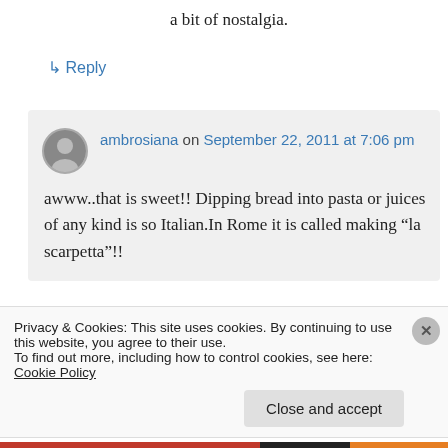a bit of nostalgia.
↳ Reply
ambrosiana on September 22, 2011 at 7:06 pm
awww..that is sweet!! Dipping bread into pasta or juices of any kind is so Italian.In Rome it is called making "la scarpetta"!!
Privacy & Cookies: This site uses cookies. By continuing to use this website, you agree to their use.
To find out more, including how to control cookies, see here: Cookie Policy
Close and accept